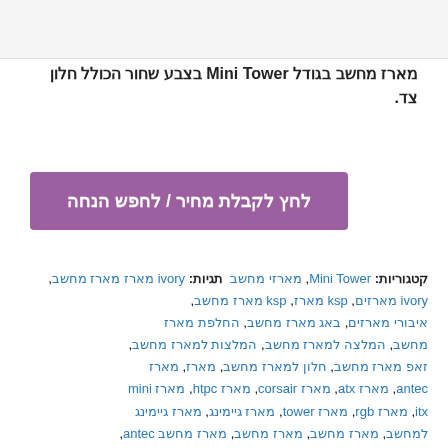[Figure (photo): Product image showing computer cases/towers at the top of the page]
מארז מחשב בגודל Mini Tower בצבע שחור הכולל חלון צד.
לחץ לקבלת מחיר / לחפש הנחה
קטגוריות: תגיות: Mini Tower, מארזי מחשב, מארז ivory מארז מחשב, ivory מארזים, ksp מארז, ksp מארז מחשב, איבורי מארזים, באג מארז מחשב, החלפת מארז מחשב, המלצה למארז מחשב, המלצות למארז מחשב, זאפ מארז מחשב, חלון למארז מחשב, מארז, מארז antec, מארז atx, מארז corsair, מארז htpc, מארז mini itx, מארז rgb, מארז tower, מארז גיימינג, מארז גיימינג למחשב, מארז מחשב, מארז מחשב antec, מארז מחשב atx, מארז מחשב corsair, מארז מחשב Cougar QBX